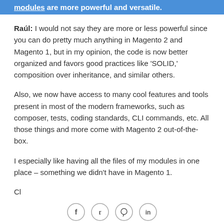modules are more powerful and versatile.
Raúl: I would not say they are more or less powerful since you can do pretty much anything in Magento 2 and Magento 1, but in my opinion, the code is now better organized and favors good practices like 'SOLID,' composition over inheritance, and similar others.
Also, we now have access to many cool features and tools present in most of the modern frameworks, such as composer, tests, coding standards, CLI commands, etc. All those things and more come with Magento 2 out-of-the-box.
I especially like having all the files of my modules in one place – something we didn't have in Magento 1.
Cl...
[Figure (other): Social sharing icons: Facebook, Twitter, Pinterest, LinkedIn in circular outline buttons]